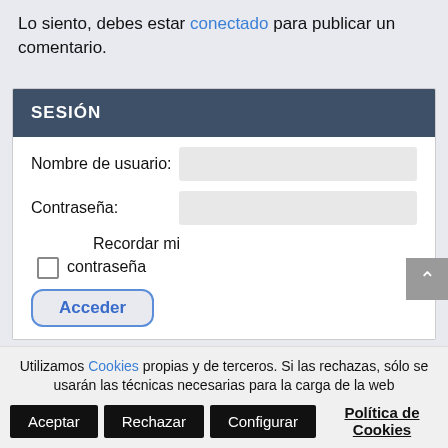Lo siento, debes estar conectado para publicar un comentario.
SESIÓN
Nombre de usuario:
Contraseña:
Recordar mi contraseña
Acceder
Utilizamos Cookies propias y de terceros. Si las rechazas, sólo se usarán las técnicas necesarias para la carga de la web
Aceptar
Rechazar
Configurar
Política de Cookies